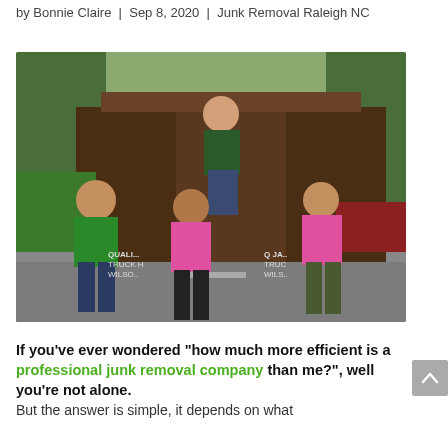by Bonnie Claire | Sep 8, 2020 | Junk Removal Raleigh NC
[Figure (photo): Four people posing in front of a junk removal truck. One person stands on top of the truck bed wearing a dark green shirt and jeans, smiling. Two women in pink shirts stand in front of the truck, and a man in a green shirt stands to the left. The side of the truck reads 'QUALI... TRUCK... WILSO...' and 'Q JA... TRUC... WILS...']
If you've ever wondered "how much more efficient is a professional junk removal company than me?", well you're not alone. But the answer is simple, it depends on what